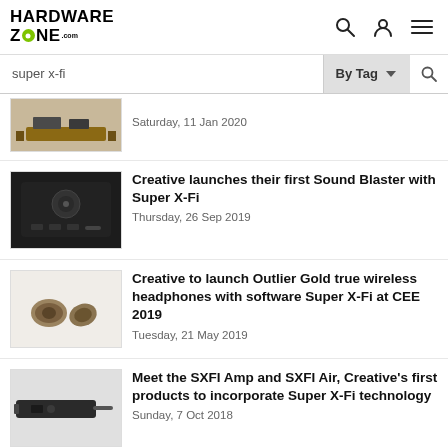HardwareZone.com
super x-fi  By Tag
Saturday, 11 Jan 2020
Creative launches their first Sound Blaster with Super X-Fi
Thursday, 26 Sep 2019
Creative to launch Outlier Gold true wireless headphones with software Super X-Fi at CEE 2019
Tuesday, 21 May 2019
Meet the SXFI Amp and SXFI Air, Creative's first products to incorporate Super X-Fi technology
Sunday, 7 Oct 2018